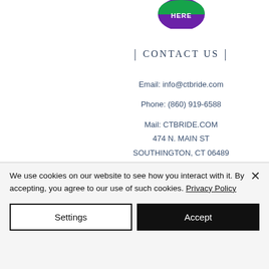[Figure (logo): Circular logo with green and purple sections, text 'HERE' visible]
| CONTACT US |
Email: info@ctbride.com
Phone: (860) 919-6588
Mail: CTBRIDE.COM
474 N. MAIN ST
SOUTHINGTON, CT 06489
We use cookies on our website to see how you interact with it. By accepting, you agree to our use of such cookies. Privacy Policy